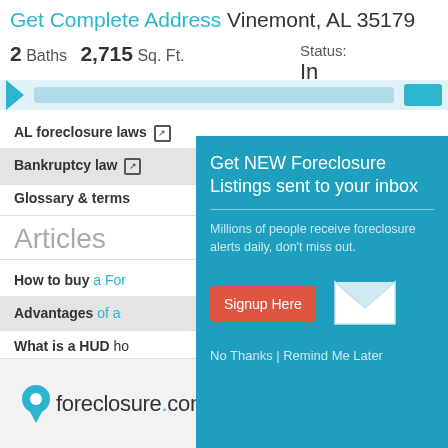Get Complete Address Vinemont, AL 35179
2 Baths  2,715 Sq. Ft.     Status: In
AL foreclosure laws
Bankruptcy law
Glossary & terms
Articles
How to buy a Foreclosure
Advantages of a...
What is a HUD ho...
[Figure (infographic): Modal popup: Get NEW Foreclosure Listings sent to your inbox. Millions of people receive foreclosure alerts daily, don't miss out. Signup Here button. No Thanks | Remind Me Later links. Envelope icon.]
foreclosure.com™